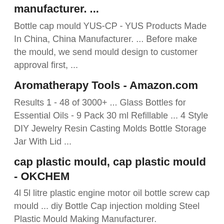manufacturer. ...
Bottle cap mould YUS-CP - YUS Products Made In China, China Manufacturer. ... Before make the mould, we send mould design to customer approval first, ...
Aromatherapy Tools - Amazon.com
Results 1 - 48 of 3000+ ... Glass Bottles for Essential Oils - 9 Pack 30 ml Refillable ... 4 Style DIY Jewelry Resin Casting Molds Bottle Storage Jar With Lid ...
cap plastic mould, cap plastic mould - OKCHEM
4l 5l litre plastic engine motor oil bottle screw cap mould ... diy Bottle Cap injection molding Steel Plastic Mould Making Manufacturer.
Concrete Molds | Upcycle That
2017-2-20 ... Glass and plastic bottles can be reused to make concrete molds for ... Mix and pour the concrete into the bottle mold and add the cap with